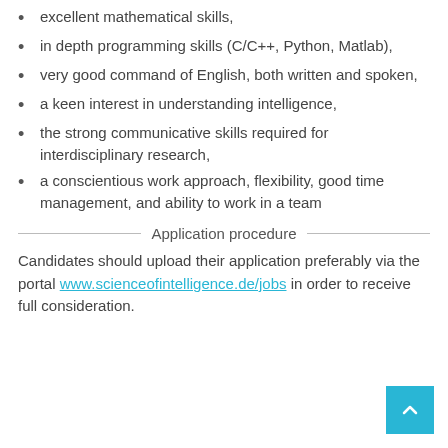excellent mathematical skills,
in depth programming skills (C/C++, Python, Matlab),
very good command of English, both written and spoken,
a keen interest in understanding intelligence,
the strong communicative skills required for interdisciplinary research,
a conscientious work approach, flexibility, good time management, and ability to work in a team
Application procedure
Candidates should upload their application preferably via the portal www.scienceofintelligence.de/jobs in order to receive full consideration.